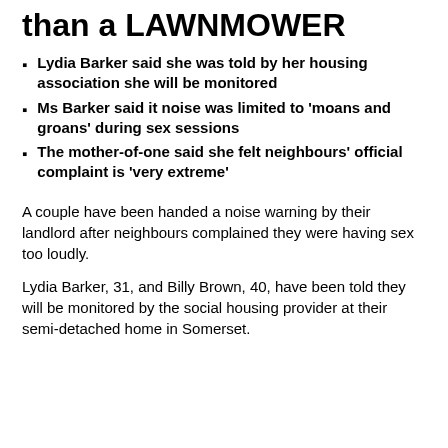than a LAWNMOWER
Lydia Barker said she was told by her housing association she will be monitored
Ms Barker said it noise was limited to 'moans and groans' during sex sessions
The mother-of-one said she felt neighbours' official complaint is 'very extreme'
A couple have been handed a noise warning by their landlord after neighbours complained they were having sex too loudly.
Lydia Barker, 31, and Billy Brown, 40, have been told they will be monitored by the social housing provider at their semi-detached home in Somerset.